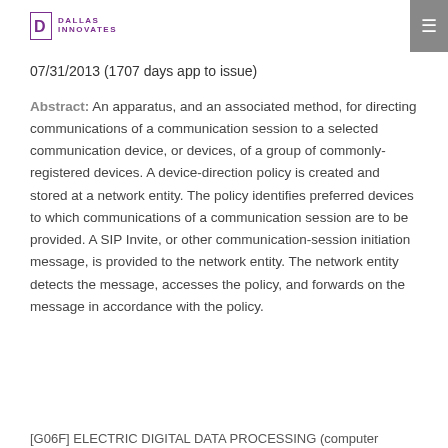Dallas Innovates
07/31/2013 (1707 days app to issue)
Abstract: An apparatus, and an associated method, for directing communications of a communication session to a selected communication device, or devices, of a group of commonly-registered devices. A device-direction policy is created and stored at a network entity. The policy identifies preferred devices to which communications of a communication session are to be provided. A SIP Invite, or other communication-session initiation message, is provided to the network entity. The network entity detects the message, accesses the policy, and forwards on the message in accordance with the policy.
[G06F] ELECTRIC DIGITAL DATA PROCESSING (computer